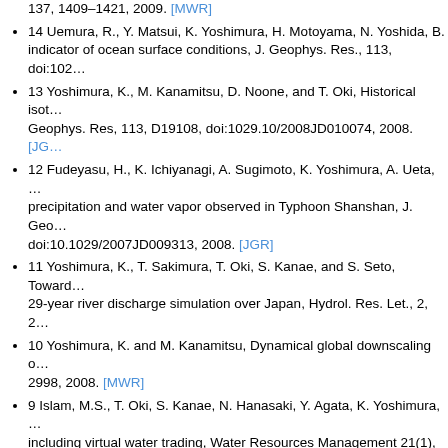137, 1409–1421, 2009. [MWR]
14 Uemura, R., Y. Matsui, K. Yoshimura, H. Motoyama, N. Yoshida, B. indicator of ocean surface conditions, J. Geophys. Res., 113, doi:102…
13 Yoshimura, K., M. Kanamitsu, D. Noone, and T. Oki, Historical isot… Geophys. Res, 113, D19108, doi:1029.10/2008JD010074, 2008. [JG…
12 Fudeyasu, H., K. Ichiyanagi, A. Sugimoto, K. Yoshimura, A. Ueta, … precipitation and water vapor observed in Typhoon Shanshan, J. Geo… doi:10.1029/2007JD009313, 2008. [JGR]
11 Yoshimura, K., T. Sakimura, T. Oki, S. Kanae, and S. Seto, Towar… 29-year river discharge simulation over Japan, Hydrol. Res. Let., 2, 2…
10 Yoshimura, K. and M. Kanamitsu, Dynamical global downscaling o… 2998, 2008. [MWR]
9 Islam, M.S., T. Oki, S. Kanae, N. Hanasaki, Y. Agata, K. Yoshimura,… including virtual water trading, Water Resources Management 21(1), …
8 Henderson-Sellers, A., M. Fischer, I. Aleinov, K. McGuffie, W.J. Rile… water isotope simulation by current land surface schemes: Results of… 2006. [GPC]
7 Yoshimura, K., S. Miyazaki, S. Kanae, and T. Oki, Iso-MATSIRO, a… isotopes, Glob. Planet. Change, 51, 90-107, 2006. Abstract [GPC]
6 Ichiyanagi, K., K. Yoshimura, and M.D. Yamanaka, Validation of cha… withdrawal of the Asian monsoon using stable isotopes, SOLA, 1, 113…
5 Shinoda, T., H. Uyeda, and K. Yoshimura, Structure of moist layer a… from the Meiyu/Baiyu front, J. Meteor. Soc. Japan, 83, 137-152, 2005…
4 Yoshimura, K., T. Oki, and K. Ichiyanagi, Evaluation of two-dimensio… reanalyses by using precipitation isotopes databases, J. Geophys. Re… Abstract [JGR]